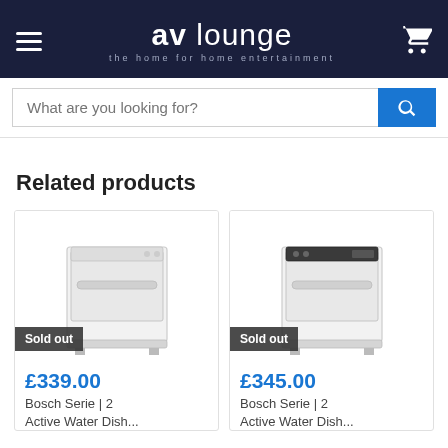AV Lounge – the home for home entertainment
What are you looking for?
Related products
[Figure (photo): Bosch dishwasher product image with Sold out badge]
£339.00
Bosch Serie | 2
Active Water Dish...
[Figure (photo): Bosch dishwasher product image with Sold out badge]
£345.00
Bosch Serie | 2
Active Water Dish...